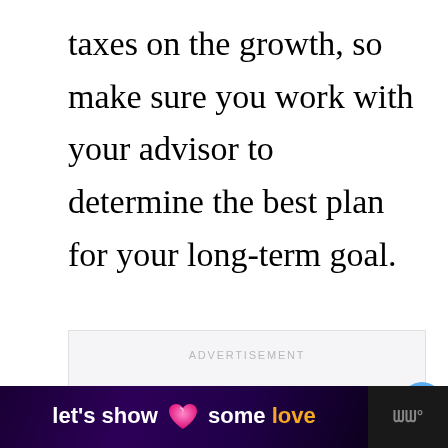taxes on the growth, so make sure you work with your advisor to determine the best plan for your long-term goal.
[Figure (other): Advertisement placeholder box with ADVERTISEMENT label in gray text on light gray background]
[Figure (other): Like button (blue circle with heart icon), count of 1, and share button below]
[Figure (other): Footer banner ad reading 'let's show it some love' with pink heart icon on dark purple background, with weather app logo on right]